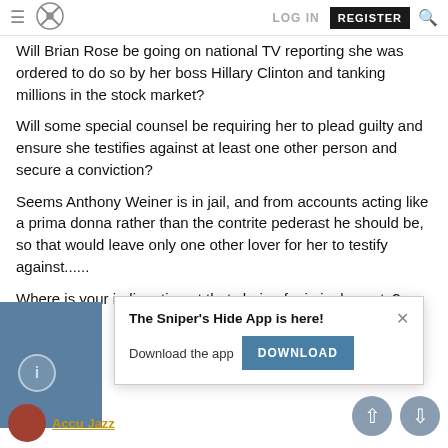LOG IN   REGISTER
Will Brian Rose be going on national TV reporting she was ordered to do so by her boss Hillary Clinton and tanking millions in the stock market?
Will some special counsel be requiring her to plead guilty and ensure she testifies against at least one other person and secure a conviction?
Seems Anthony Weiner is in jail, and from accounts acting like a prima donna rather than the contrite pederast he should be, so that would leave only one other lover for her to testify against......
Where is your indignation at that chain of criminal events?
M... nt pardon on p...
[Figure (screenshot): App download popup: 'The Sniper's Hide App is here!' with DOWNLOAD button and X close button]
[Figure (other): Blue left column block with info circle icon]
[Figure (other): Scroll up and scroll down circular buttons at bottom right]
[Figure (other): User avatar (red circle) and username in orange at bottom left]